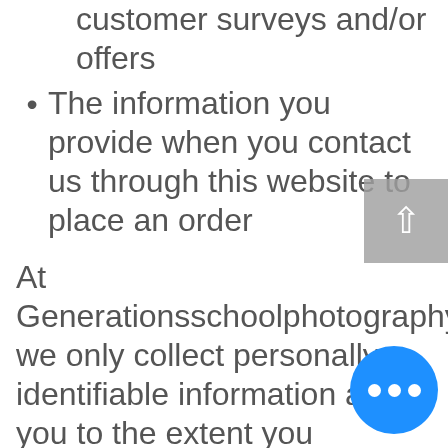customer surveys and/or offers
The information you provide when you contact us through this website to place an order
At Generationsschoolphotography.com, we only collect personally identifiable information about you to the extent you specifically provide. This includes, for example, information provided to place an order, contact customer service, register for a service, respond to a survey or enter a contest or sweepstakes online. We use the information you share with us
to provide the products or services or benefits to